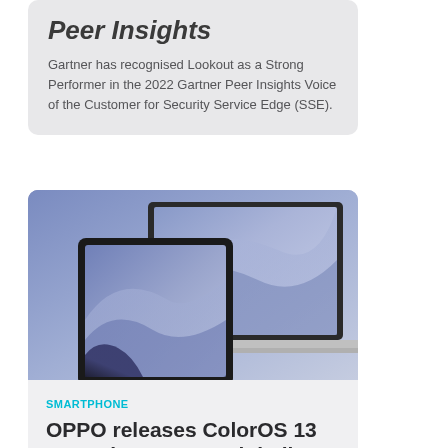Peer Insights
Gartner has recognised Lookout as a Strong Performer in the 2022 Gartner Peer Insights Voice of the Customer for Security Service Edge (SSE).
[Figure (photo): Photo of two OPPO devices: a tablet and a laptop, both with blue/purple gradient wallpapers, displayed side by side on a white background.]
SMARTPHONE
OPPO releases ColorOS 13 operating system globally